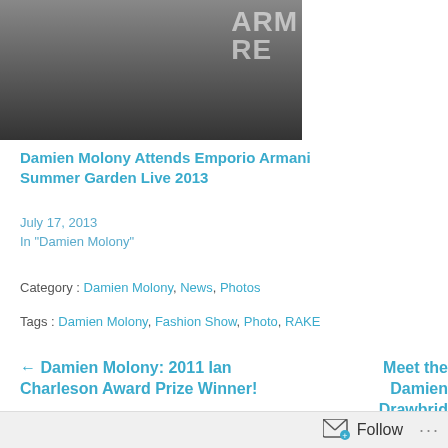[Figure (photo): Photo of Damien Molony at Emporio Armani event, partial view showing man in dark shirt with Armani backdrop visible]
Damien Molony Attends Emporio Armani Summer Garden Live 2013
July 17, 2013
In "Damien Molony"
Category : Damien Molony, News, Photos
Tags : Damien Molony, Fashion Show, Photo, RAKE
← Damien Molony: 2011 Ian Charleson Award Prize Winner!
Meet the Damien Drawbrid…